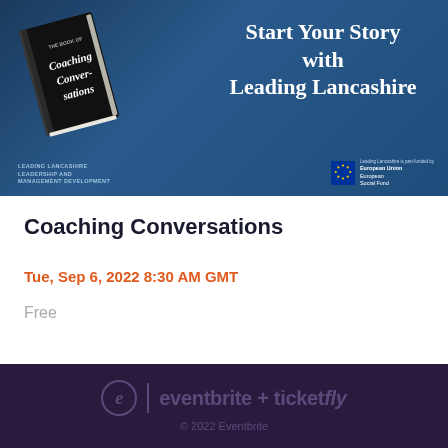[Figure (illustration): Banner image with dark navy blue background showing a tilted book titled 'The Book of Coaching Conversations' on the left, and text 'Start Your Story with Leading Lancashire' on the right. Bottom left has Leading Lancashire logo text, bottom right has European Union European Social Fund logo with EU stars.]
Coaching Conversations
Tue, Sep 6, 2022 8:30 AM GMT
Free
eventbrite + ticketfly
© 2022 Eventbrite